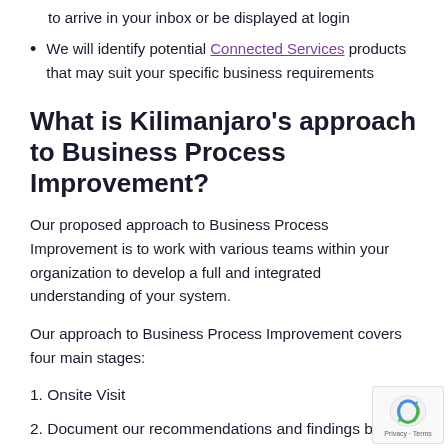to arrive in your inbox or be displayed at login
We will identify potential Connected Services products that may suit your specific business requirements
What is Kilimanjaro's approach to Business Process Improvement?
Our proposed approach to Business Process Improvement is to work with various teams within your organization to develop a full and integrated understanding of your system.
Our approach to Business Process Improvement covers four main stages:
1. Onsite Visit
2. Document our recommendations and findings based